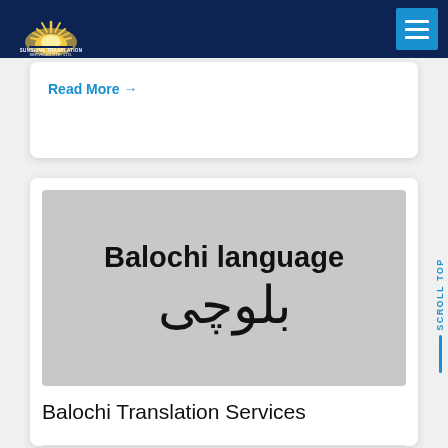Sunshine Translation Services
Read More →
[Figure (illustration): Balochi language illustration showing 'Balochi language' in Latin script and the Balochi script (بلوچی) on a grey background]
Balochi Translation Services